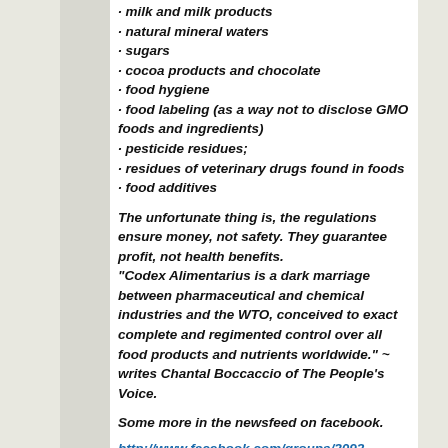· milk and milk products
· natural mineral waters
· sugars
· cocoa products and chocolate
· food hygiene
· food labeling (as a way not to disclose GMO foods and ingredients)
· pesticide residues;
· residues of veterinary drugs found in foods
· food additives
The unfortunate thing is, the regulations ensure money, not safety. They guarantee profit, not health benefits.
"Codex Alimentarius is a dark marriage between pharmaceutical and chemical industries and the WTO, conceived to exact complete and regimented control over all food products and nutrients worldwide." ~ writes Chantal Boccaccio of The People's Voice.
Some more in the newsfeed on facebook.
http://www.facebook.com/groups/2092.
Some may wonder how they can